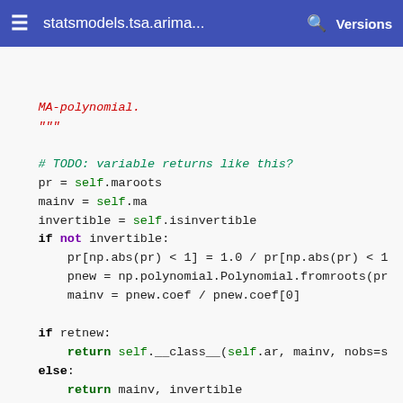statsmodels.tsa.arima...   Versions
[Figure (screenshot): Python source code from statsmodels documentation showing a method with MA-polynomial docstring, variable assignments for maroots, ma, isinvertible, conditional invertibility correction, and a generate_sample method definition with @Appender decorator.]